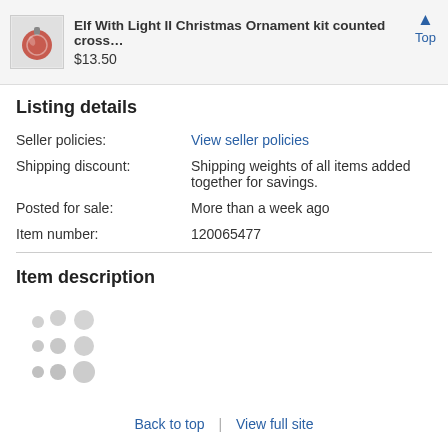Elf With Light II Christmas Ornament kit counted cross... $13.50
Listing details
| Seller policies: | View seller policies |
| Shipping discount: | Shipping weights of all items added together for savings. |
| Posted for sale: | More than a week ago |
| Item number: | 120065477 |
Item description
[Figure (other): Loading spinner dots (grey circles in a grid pattern indicating content is loading)]
Back to top | View full site